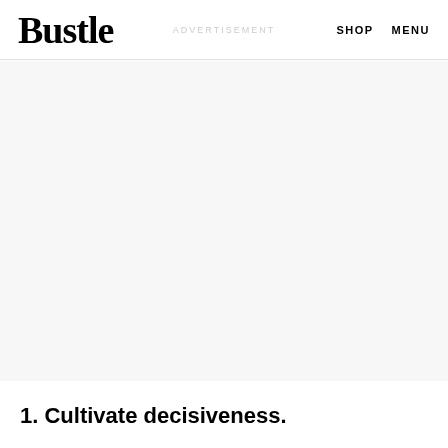Bustle  ADVERTISEMENT  SHOP  MENU
[Figure (other): Advertisement placeholder area with light gray background]
1. Cultivate decisiveness.